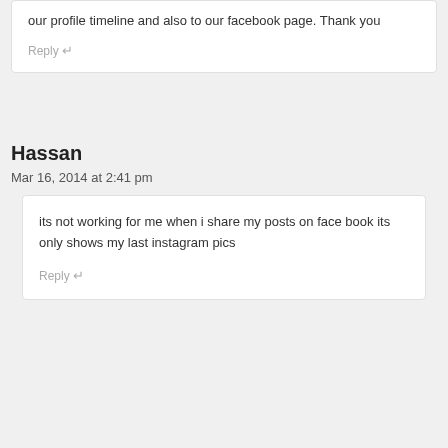our profile timeline and also to our facebook page. Thank you
Reply ↵
Hassan
Mar 16, 2014 at 2:41 pm
its not working for me when i share my posts on face book its only shows my last instagram pics
Reply ↵